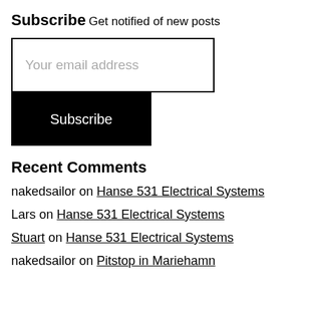Subscribe
Get notified of new posts
[Figure (screenshot): Email input field with placeholder 'Your email address' and a black Subscribe button below]
Recent Comments
nakedsailor on Hanse 531 Electrical Systems
Lars on Hanse 531 Electrical Systems
Stuart on Hanse 531 Electrical Systems
nakedsailor on Pitstop in Mariehamn